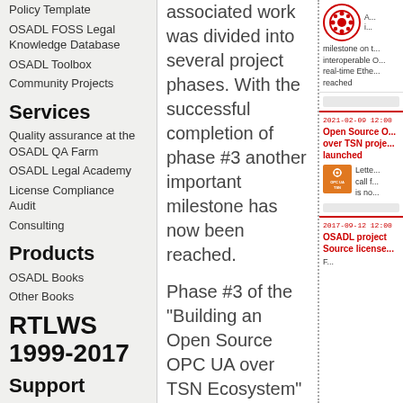Policy Template
OSADL FOSS Legal Knowledge Database
OSADL Toolbox
Community Projects
Services
Quality assurance at the OSADL QA Farm
OSADL Legal Academy
License Compliance Audit
Consulting
Products
OSADL Books
Other Books
RTLWS 1999-2017
Support
HOWTOs
Downloads
Imprint/Privacy
associated work was divided into several project phases. With the successful completion of phase #3 another important milestone has now been reached.
Phase #3 of the "Building an Open Source OPC UA over TSN Ecosystem" project received funding of €117,500 from participating
[Figure (logo): OSADL logo - circular red border with gear icon]
A... i... milestone on the interoperable OPC real-time Ether... reached
2021-02-09 12:00
Open Source O... over TSN proje... launched
[Figure (logo): OPC UA TSN orange square logo]
Lette... call f... is no...
2017-09-12 12:00
OSADL project Source license...